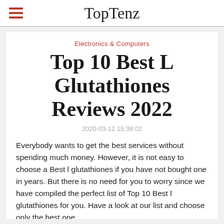TopTenz
Electronics & Computers
Top 10 Best L Glutathiones Reviews 2022
2020-03-12 15:38:02
Everybody wants to get the best services without spending much money. However, it is not easy to choose a Best l glutathiones if you have not bought one in years. But there is no need for you to worry since we have compiled the perfect list of Top 10 Best l glutathiones for you. Have a look at our list and choose only the best one.